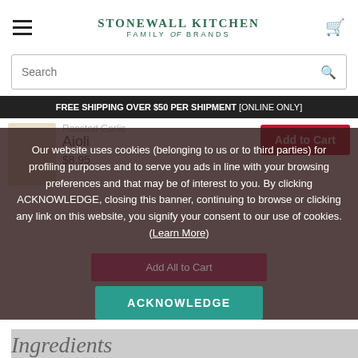STONEWALL KITCHEN FAMILY of BRANDS
Search
FREE SHIPPING OVER $50 PER SHIPMENT [ONLINE ONLY]
Roasted Garlic Aioli
$8.95
Add to Cart
Our website uses cookies (belonging to us or to third parties) for profiling purposes and to serve you ads in line with your browsing preferences and that may be of interest to you. By clicking ACKNOWLEDGE, closing this banner, continuing to browse or clicking any link on this website, you signify your consent to our use of cookies. (Learn More)
Add All to Cart
ACKNOWLEDGE
Ingredients